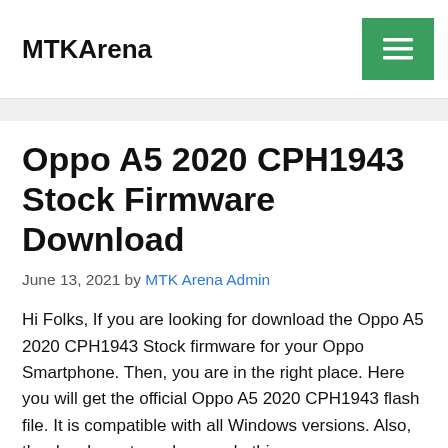MTKArena
Oppo A5 2020 CPH1943 Stock Firmware Download
June 13, 2021 by MTK Arena Admin
Hi Folks, If you are looking for download the Oppo A5 2020 CPH1943 Stock firmware for your Oppo Smartphone. Then, you are in the right place. Here you will get the official Oppo A5 2020 CPH1943 flash file. It is compatible with all Windows versions. Also, the developer team has made this